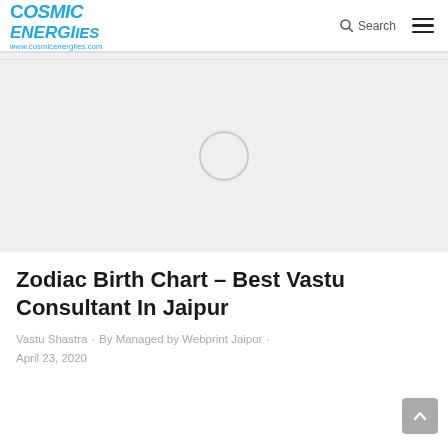COSMIC ENERGIES www.cosmicenergiies.com | Search | Menu
[Figure (photo): Featured image placeholder with light gray background and a circular loading indicator in the center]
Zodiac Birth Chart – Best Vastu Consultant In Jaipur
Vastu Shastra · By Managed by Webprint Jaipur · April 23, 2020